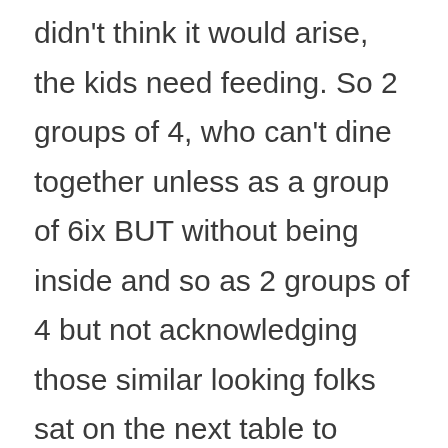didn't think it would arise, the kids need feeding. So 2 groups of 4, who can't dine together unless as a group of 6ix BUT without being inside and so as 2 groups of 4 but not acknowledging those similar looking folks sat on the next table to yourself.

We wore masks, we kept our